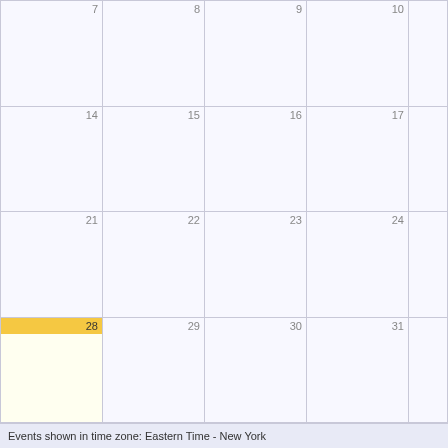[Figure (other): Monthly calendar grid showing partial month view. Rows display dates: row1 has 7,8,9,10 (partial); row2 has 14,15,16,17 (partial); row3 has 21,22,23,24 (partial); row4 has 28(highlighted/today),29,30,31 (partial). Day 28 cell has yellow/gold header and light yellow background.]
Events shown in time zone: Eastern Time - New York